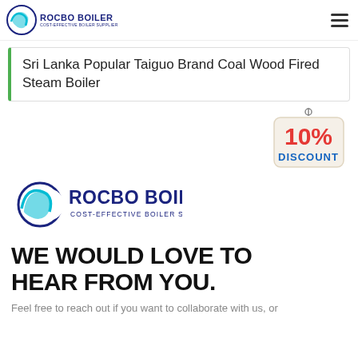ROCBO BOILER - COST-EFFECTIVE BOILER SUPPLIER
Sri Lanka Popular Taiguo Brand Coal Wood Fired Steam Boiler
[Figure (illustration): 10% DISCOUNT badge hanging sign]
[Figure (logo): Rocbo Boiler logo - COST-EFFECTIVE BOILER SUPPLIER]
WE WOULD LOVE TO HEAR FROM YOU.
Feel free to reach out if you want to collaborate with us, or